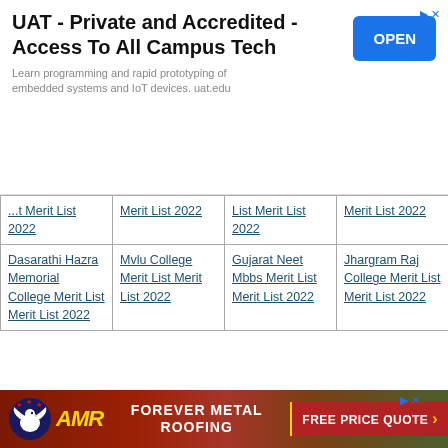[Figure (other): Advertisement banner: UAT - Private and Accredited - Access To All Campus Tech. Blue OPEN button. Learn programming and rapid prototyping of embedded systems and IoT devices. uat.edu]
| ...t Merit List 2022 | Merit List 2022 | List Merit List 2022 | Merit List 2022 |
| Dasarathi Hazra Memorial College Merit List Merit List 2022 | Mvlu College Merit List Merit List 2022 | Gujarat Neet Mbbs Merit List Merit List 2022 | Jhargram Raj College Merit List Merit List 2022 |
| t College... | Mahavidyalay... | Merit List... | Merit List... |
[Figure (other): Advertisement banner: FOREVER METAL ROOFING - FREE PRICE QUOTE. AMR logo with eagle.]